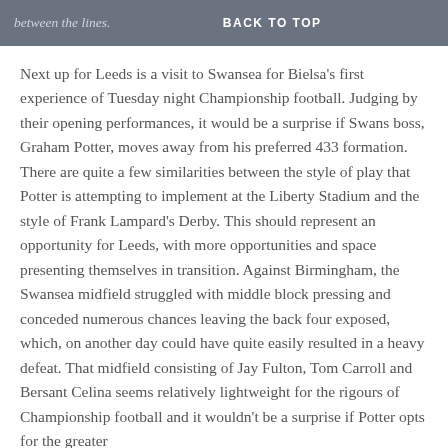between the lines.   BACK TO TOP
Next up for Leeds is a visit to Swansea for Bielsa's first experience of Tuesday night Championship football. Judging by their opening performances, it would be a surprise if Swans boss, Graham Potter, moves away from his preferred 433 formation. There are quite a few similarities between the style of play that Potter is attempting to implement at the Liberty Stadium and the style of Frank Lampard's Derby. This should represent an opportunity for Leeds, with more opportunities and space presenting themselves in transition. Against Birmingham, the Swansea midfield struggled with middle block pressing and conceded numerous chances leaving the back four exposed, which, on another day could have quite easily resulted in a heavy defeat. That midfield consisting of Jay Fulton, Tom Carroll and Bersant Celina seems relatively lightweight for the rigours of Championship football and it wouldn't be a surprise if Potter opts for the greater